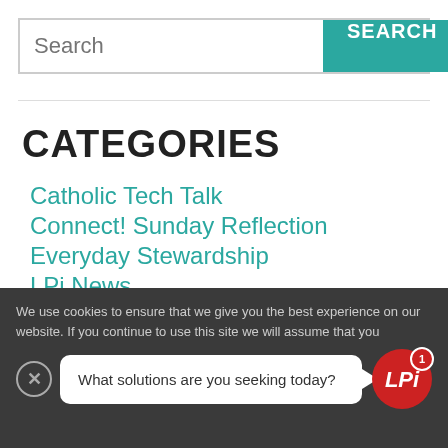[Figure (screenshot): Search bar with teal SEARCH button]
CATEGORIES
Catholic Tech Talk
Connect! Sunday Reflection
Everyday Stewardship
LPi News
Vibrant Parish Toolkit
We use cookies to ensure that we give you the best experience on our website. If you continue to use this site we will assume that you
What solutions are you seeking today?